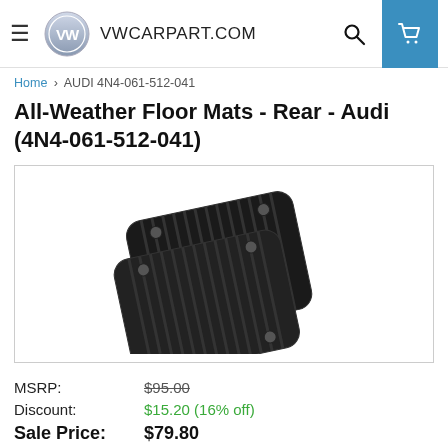VWCARPART.COM
Home > AUDI 4N4-061-512-041
All-Weather Floor Mats - Rear - Audi (4N4-061-512-041)
[Figure (photo): Two black rubber all-weather rear floor mats for Audi, shown from a diagonal overhead angle, with ribbed texture and retention clips.]
MSRP: $95.00
Discount: $15.20 (16% off)
Sale Price: $79.80